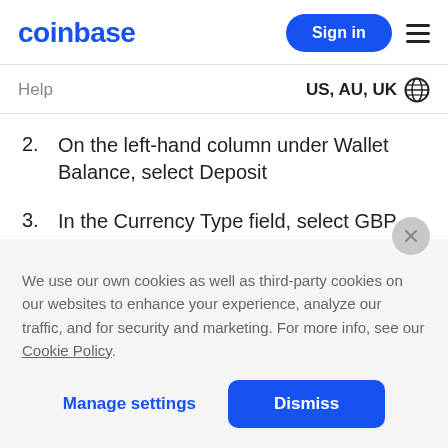coinbase
Help   US, AU, UK
2.  On the left-hand column under Wallet Balance, select Deposit
3.  In the Currency Type field, select GBP
We use our own cookies as well as third-party cookies on our websites to enhance your experience, analyze our traffic, and for security and marketing. For more info, see our Cookie Policy.
Manage settings   Dismiss